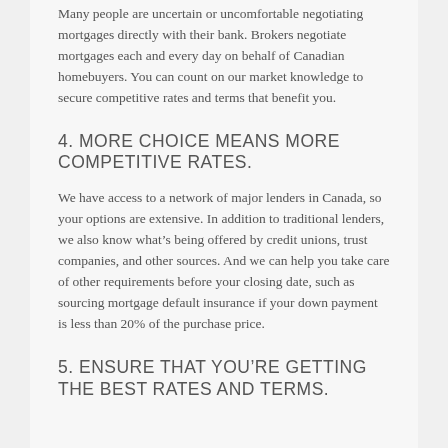Many people are uncertain or uncomfortable negotiating mortgages directly with their bank. Brokers negotiate mortgages each and every day on behalf of Canadian homebuyers. You can count on our market knowledge to secure competitive rates and terms that benefit you.
4. MORE CHOICE MEANS MORE COMPETITIVE RATES.
We have access to a network of major lenders in Canada, so your options are extensive. In addition to traditional lenders, we also know what’s being offered by credit unions, trust companies, and other sources. And we can help you take care of other requirements before your closing date, such as sourcing mortgage default insurance if your down payment is less than 20% of the purchase price.
5. ENSURE THAT YOU’RE GETTING THE BEST RATES AND TERMS.